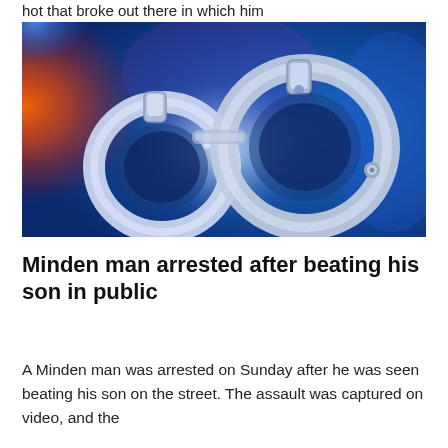hot that broke out there in which him
[Figure (photo): Close-up photo of metal handcuffs against a blue and red police light background]
Minden man arrested after beating his son in public
A Minden man was arrested on Sunday after he was seen beating his son on the street. The assault was captured on video, and the